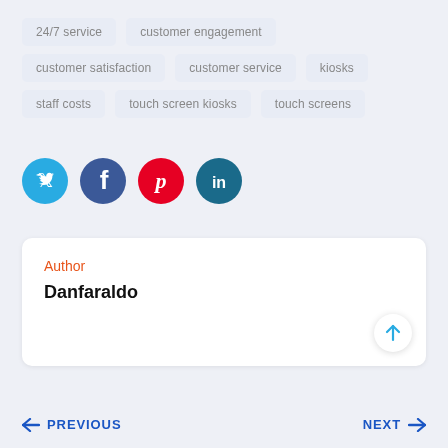24/7 service
customer engagement
customer satisfaction
customer service
kiosks
staff costs
touch screen kiosks
touch screens
[Figure (infographic): Social share buttons: Twitter (cyan), Facebook (dark blue), Pinterest (red), LinkedIn (dark teal)]
Author
Danfaraldo
← PREVIOUS    NEXT →